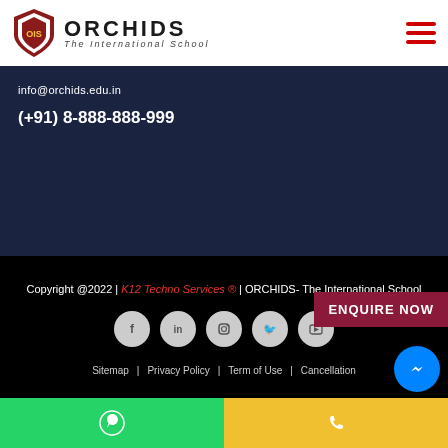[Figure (logo): Orchids The International School logo with shield emblem and text]
info@orchids.edu.in
(+91) 8-888-888-999
Copyright @2022 | K12 Techno Services ® | ORCHIDS- The International School
[Figure (infographic): ENQUIRE NOW button in dark red]
[Figure (infographic): Social media icons: Facebook, LinkedIn, Instagram, Twitter, YouTube]
Sitemap | Privacy Policy | Term of Use | Cancellation
[Figure (infographic): WhatsApp button (green) and Call button (yellow) at bottom, Messenger bubble (blue) at bottom right]